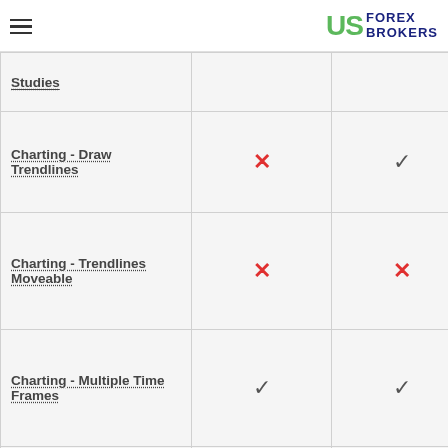US FOREX BROKERS
| Feature | Broker 1 | Broker 2 |
| --- | --- | --- |
| Studies |  |  |
| Charting - Draw Trendlines | ✗ | ✓ |
| Charting - Trendlines Moveable | ✗ | ✗ |
| Charting - Multiple Time Frames | ✓ | ✓ |
| Charting - Drawings Autosave | ✗ | ✓ |
| Forex Calendar | ✗ | ✓ |